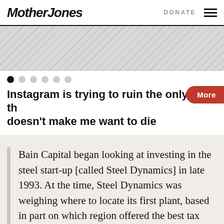Mother Jones | DONATE
[Figure (illustration): Hatched/diagonal striped gray image placeholder in carousel]
[Figure (other): Carousel navigation dots, first dot active (black), five others gray]
Instagram is trying to ruin the only app th… doesn't make me want to die
Bain Capital began looking at investing in the steel start-up [called Steel Dynamics] in late 1993. At the time, Steel Dynamics was weighing where to locate its first plant, based in part on which region offered the best tax